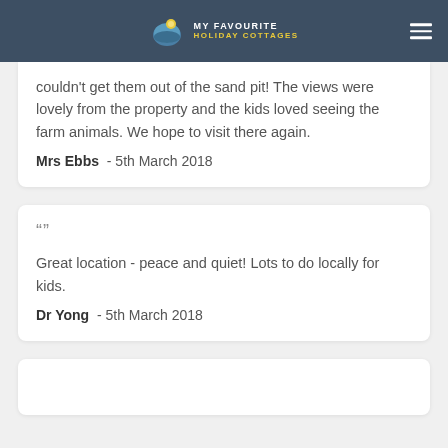MY FAVOURITE HOLIDAY COTTAGES
couldn't get them out of the sand pit! The views were lovely from the property and the kids loved seeing the farm animals. We hope to visit there again.
Mrs Ebbs - 5th March 2018
“”
Great location - peace and quiet! Lots to do locally for kids.
Dr Yong - 5th March 2018